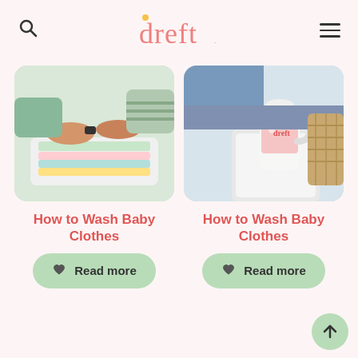dreft
[Figure (photo): Hands folding baby clothes in white laundry basket with colorful garments]
[Figure (photo): Person holding a Dreft laundry detergent bottle near a washing machine]
How to Wash Baby Clothes
How to Wash Baby Clothes
Read more
Read more